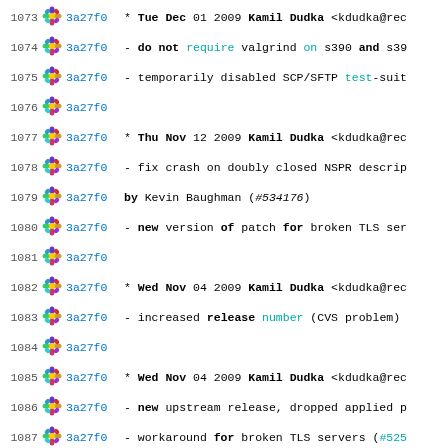1073 3a27f0 * Tue Dec 01 2009 Kamil Dudka <kdudka@rec
1074 3a27f0 - do not require valgrind on s390 and s39
1075 3a27f0 - temporarily disabled SCP/SFTP test-suit
1076 3a27f0
1077 3a27f0 * Thu Nov 12 2009 Kamil Dudka <kdudka@rec
1078 3a27f0 - fix crash on doubly closed NSPR descrip
1079 3a27f0   by Kevin Baughman (#534176)
1080 3a27f0 - new version of patch for broken TLS ser
1081 3a27f0
1082 3a27f0 * Wed Nov 04 2009 Kamil Dudka <kdudka@rec
1083 3a27f0 - increased release number (CVS problem)
1084 3a27f0
1085 3a27f0 * Wed Nov 04 2009 Kamil Dudka <kdudka@rec
1086 3a27f0 - new upstream release, dropped applied p
1087 3a27f0 - workaround for broken TLS servers (#525
1088 3a27f0
1089 3a27f0 * Wed Oct 14 2009 Kamil Dudka <kdudka@rec
1090 3a27f0 - fix timeout issues and gcc warnings wit
1091 3a27f0
1092 3a27f0 * Tue Oct 06 2009 Kamil Dudka <kdudka@rec
1093 3a27f0 - upstream patch for NSS support written